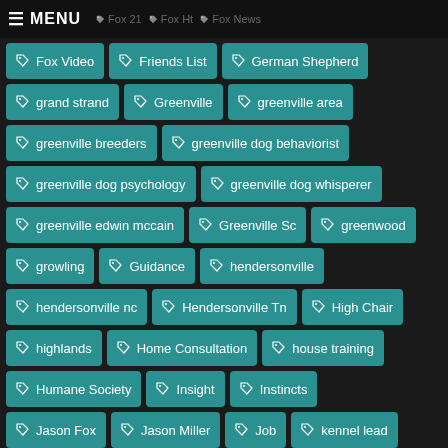MENU | Fox 21 | Fox Ht | Fox News
Fox Video
Friends List
German Shepherd
grand strand
Greenville
greenville area
greenville breeders
greenville dog behaviorist
greenville dog psychology
greenville dog whisperer
greenville edwin mccain
Greenville Sc
greenwood
growling
Guidance
hendersonville
hendersonville nc
Hendersonville Tn
High Chair
highlands
Home Consultation
house training
Humane Society
Insight
Instincts
Jason Fox
Jason Miller
Job
kennel lead